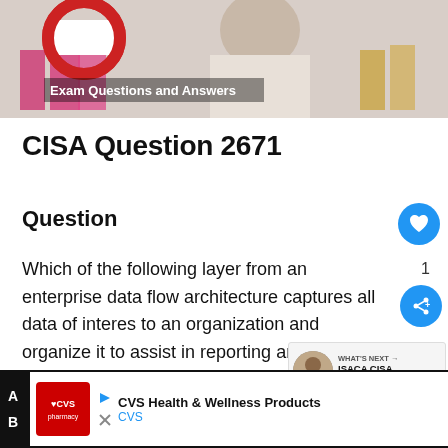[Figure (illustration): Banner image showing a website header with 'Exam Questions and Answers' text and a photo of a person in the background]
CISA Question 2671
Question
Which of the following layer from an enterprise data flow architecture captures all data of interest to an organization and organize it to assist in reporting and analysis?
[Figure (other): Advertisement banner: CVS Health & Wellness Products / CVS]
A
B